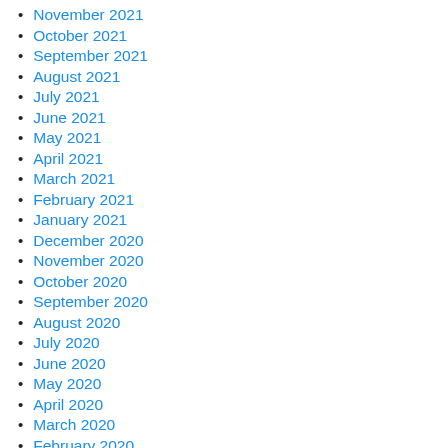November 2021
October 2021
September 2021
August 2021
July 2021
June 2021
May 2021
April 2021
March 2021
February 2021
January 2021
December 2020
November 2020
October 2020
September 2020
August 2020
July 2020
June 2020
May 2020
April 2020
March 2020
February 2020
January 2020
December 2019
November 2019